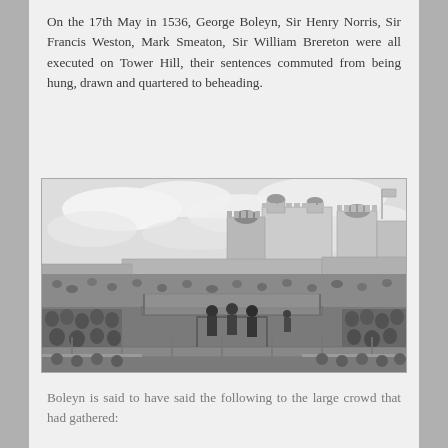On the 17th May in 1536, George Boleyn, Sir Henry Norris, Sir Francis Weston, Mark Smeaton, Sir William Brereton were all executed on Tower Hill, their sentences commuted from being hung, drawn and quartered to beheading.
[Figure (illustration): A black and white engraving depicting an execution scene at Tower Hill with the Tower of London visible in the background. A large crowd has gathered to witness the execution on a scaffold platform in the foreground.]
Boleyn is said to have said the following to the large crowd that had gathered: